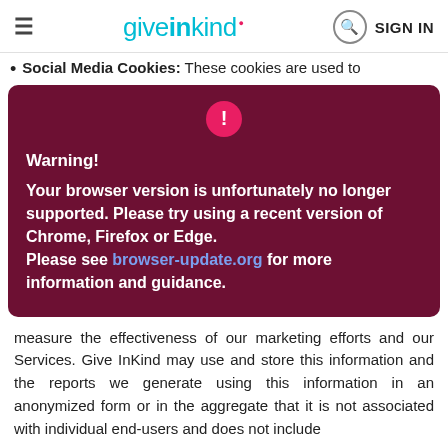give in kind  SIGN IN
Social Media Cookies: These cookies are used to
[Figure (screenshot): Warning modal dialog with dark red background showing a browser compatibility warning. Contains a pink exclamation mark icon at top, bold white text saying 'Warning!', followed by 'Your browser version is unfortunately no longer supported. Please try using a recent version of Chrome, Firefox or Edge. Please see browser-update.org for more information and guidance.']
measure the effectiveness of our marketing efforts and our Services. Give InKind may use and store this information and the reports we generate using this information in an anonymized form or in the aggregate that it is not associated with individual end-users and does not include